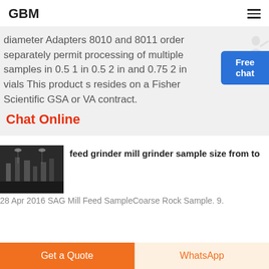GBM
diameter Adapters 8010 and 8011 order separately permit processing of multiple samples in 0.5 1 in 0.5 2 in and 0.75 2 in vials This product s resides on a Fisher Scientific GSA or VA contract.
Chat Online
[Figure (photo): Interior of an industrial facility showing large machinery and equipment in a warehouse-like space.]
feed grinder mill grinder sample size from to
28 Apr 2016 SAG Mill Feed SampleCoarse Rock Sample. 9.
Get a Quote
WhatsApp